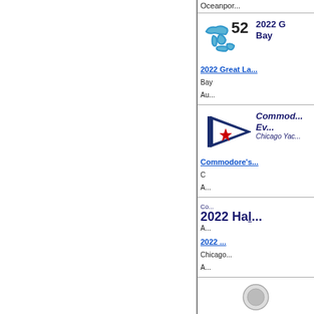Oceanport...
[Figure (logo): Great Lakes 52 logo with map of Great Lakes and number 52]
2022 Great Lakes 52 Bay...
2022 Great La... Bay... Au...
[Figure (logo): Chicago Yacht Club burgee - blue and white pennant with red star]
Commodore's Ev... Chicago Yac...
Commodore'... C... A...
Co... 2022 Ha... A... 2022 ... Chicago A...
[Figure (logo): Logo at bottom right]